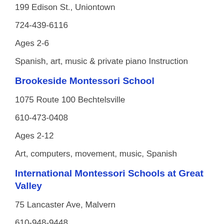199 Edison St., Uniontown
724-439-6116
Ages 2-6
Spanish, art, music & private piano Instruction
Brookeside Montessori School
1075 Route 100 Bechtelsville
610-473-0408
Ages 2-12
Art, computers, movement, music, Spanish
International Montessori Schools at Great Valley
75 Lancaster Ave, Malvern
610-948-9448